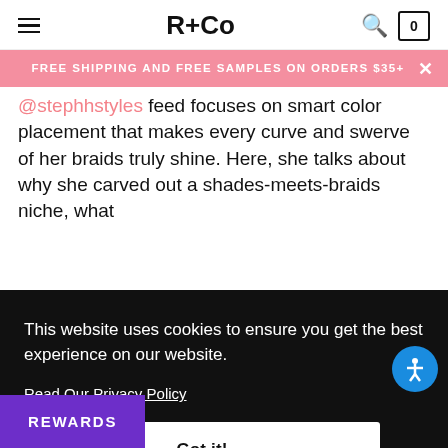R+Co [hamburger menu, search, cart]
FREE SHIPPING AND FREE SAMPLES ON ORDERS $35+
@stephhstyles feed focuses on smart color placement that makes every curve and swerve of her braids truly shine. Here, she talks about why she carved out a shades-meets-braids niche, what
This website uses cookies to ensure you get the best experience on our website.
Read Our Privacy Policy
Got it!
REWARDS
SH: I was looking for a way on social channels for